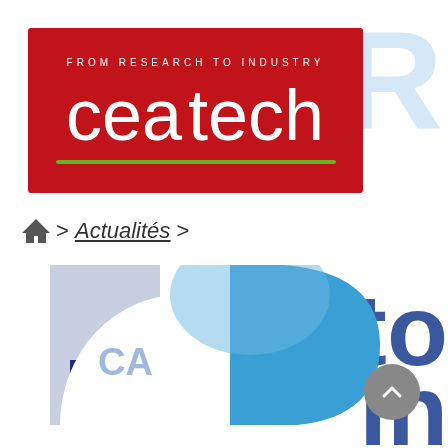[Figure (logo): CEA Tech logo — red rectangle background with white text 'cea tech', tagline 'FROM RESEARCH TO INDUSTRY', and a green horizontal line beneath the text]
> Actualités >
[Figure (logo): Partial CARA logo with blue, white, navy and light-blue geometric shapes]
[Figure (other): Scroll-to-top circular grey button with an upward chevron arrow]